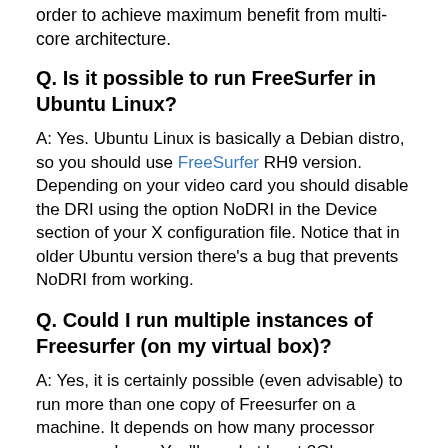order to achieve maximum benefit from multi-core architecture.
Q. Is it possible to run FreeSurfer in Ubuntu Linux?
A: Yes. Ubuntu Linux is basically a Debian distro, so you should use FreeSurfer RH9 version. Depending on your video card you should disable the DRI using the option NoDRI in the Device section of your X configuration file. Notice that in older Ubuntu version there's a bug that prevents NoDRI from working.
Q. Could I run multiple instances of Freesurfer (on my virtual box)?
A: Yes, it is certainly possible (even advisable) to run more than one copy of Freesurfer on a machine. It depends on how many processor cores you have. You'll need at least 2Gb per process if not 3Gb, one core per process. It may be possible to run one process using 1Gb if you use the 'no-gcut' flag. Open one terminal window for each instance of FreeSurfer, using serperate commands in each terminal window. When running four individual recon_all jobs on four cores, we have found